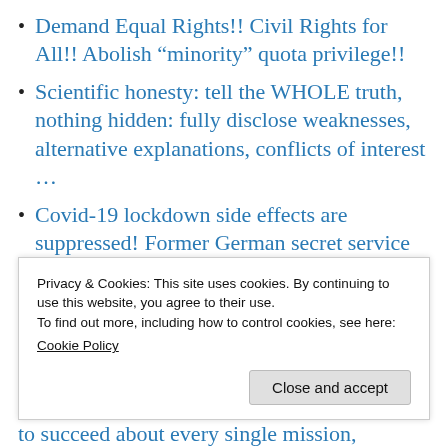Demand Equal Rights!! Civil Rights for All!! Abolish “minority” quota privilege!!
Scientific honesty: tell the WHOLE truth, nothing hidden: fully disclose weaknesses, alternative explanations, conflicts of interest …
Covid-19 lockdown side effects are suppressed! Former German secret service chief assails cover-up
Progressive “Zorro”: Females are much better justice fighters, NOT
Privacy & Cookies: This site uses cookies. By continuing to use this website, you agree to their use.
To find out more, including how to control cookies, see here:
Cookie Policy
Close and accept
to succeed about every single mission,